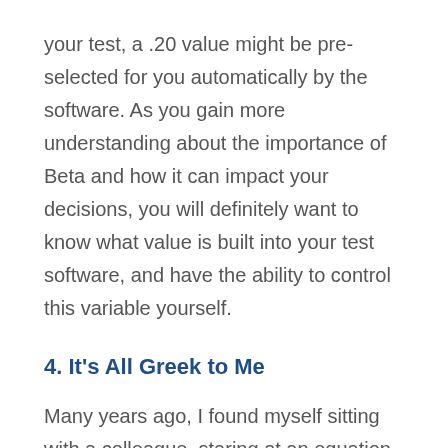your test, a .20 value might be pre-selected for you automatically by the software. As you gain more understanding about the importance of Beta and how it can impact your decisions, you will definitely want to know what value is built into your test software, and have the ability to control this variable yourself.
4. It's All Greek to Me
Many years ago, I found myself sitting with a colleague, staring at an equation like this one in a text book, wondering what the